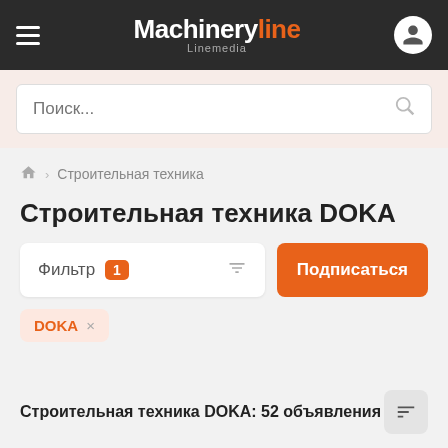Machineryline Linemedia
Поиск...
Строительная техника
Строительная техника DOKA
Фильтр 1
Подписаться
DOKA ×
Строительная техника DOKA: 52 объявления